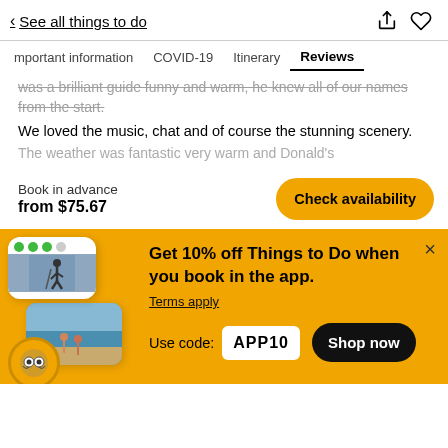< See all things to do
Important information  COVID-19  Itinerary  Reviews
was a brilliant guide funny and warm, he knew all of our names from the start.
We loved the music, chat and of course the stunning scenery.
The weather was fantastic very warm and Donald's
Book in advance
from $75.67
Check availability
[Figure (screenshot): App promotion banner with phone mockup cards and TripAdvisor badge]
Get 10% off Things to Do when you book in the app.
Terms apply
Use code: APP10  Shop now